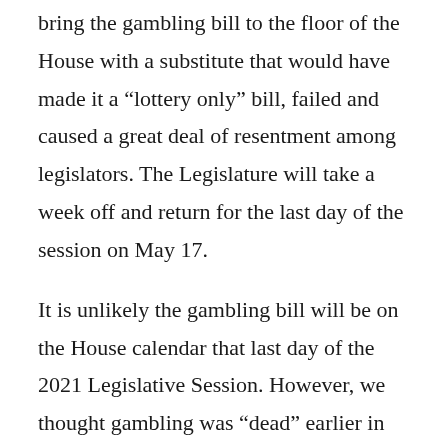bring the gambling bill to the floor of the House with a substitute that would have made it a “lottery only” bill, failed and caused a great deal of resentment among legislators. The Legislature will take a week off and return for the last day of the session on May 17.
It is unlikely the gambling bill will be on the House calendar that last day of the 2021 Legislative Session. However, we thought gambling was “dead” earlier in the session only to see it “rise from the ashes.” With that in mind, it is important for people to contact both their